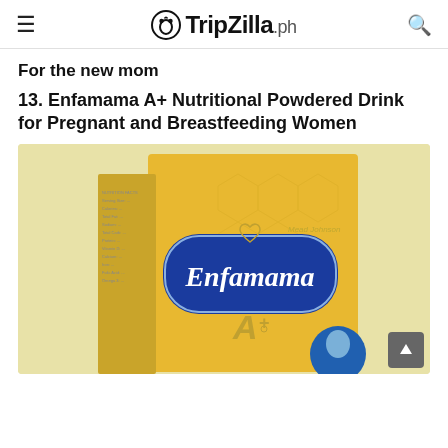TripZilla.ph
For the new mom
13. Enfamama A+ Nutritional Powdered Drink for Pregnant and Breastfeeding Women
[Figure (photo): Product photo of Enfamama A+ Nutritional Powdered Drink box in gold/yellow color with blue Enfamama logo and A+ branding, set against a pale yellow background]